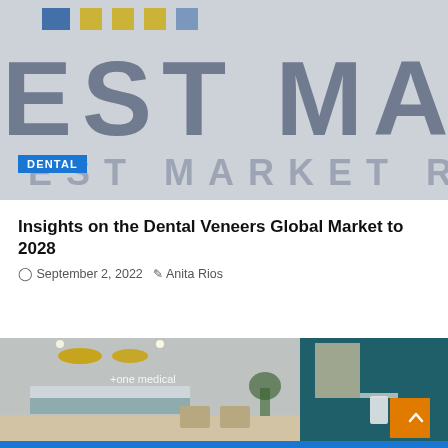[Figure (photo): Blurred banner image with large text 'EST MARKE' (partial header logo/banner) in dark blue-gray letters on a light gray background, with small colored logo blocks at top]
DENTAL
Insights on the Dental Veneers Global Market to 2028
September 2, 2022   Anita Rios
[Figure (photo): Interior photo of a modern medical/dental office waiting room with reception desk, chairs, pendant lights, and a sign reading '+one medical' on a light blue-gray wall. Right side shows a teal/dark blue wall with a white lamp and orange accent furniture.]